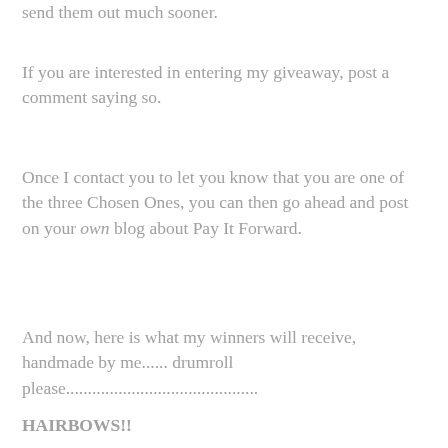send them out much sooner.
If you are interested in entering my giveaway, post a comment saying so.
Once I contact you to let you know that you are one of the three Chosen Ones, you can then go ahead and post on your own blog about Pay It Forward.
And now, here is what my winners will receive, handmade by me...... drumroll please...........................................
HAIRBOWS!!